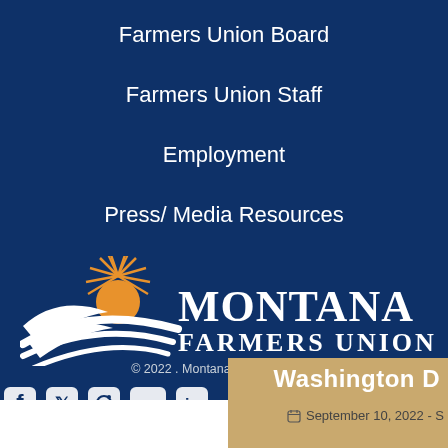Farmers Union Board
Farmers Union Staff
Employment
Press/ Media Resources
[Figure (logo): Montana Farmers Union logo with sun rays over white swoosh lines and text MONTANA FARMERS UNION]
© 2022 . Montana Farmers Union
[Figure (infographic): Social media icons: Facebook, Twitter, Instagram, YouTube, LinkedIn]
Washington D
September 10, 2022 - S